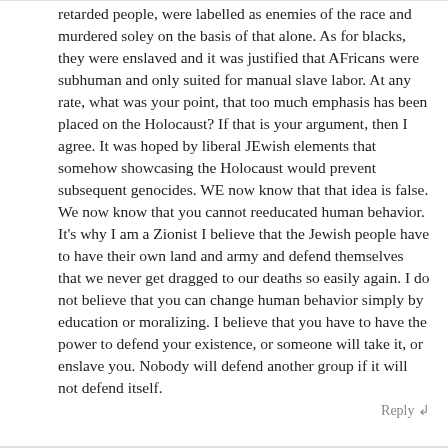retarded people, were labelled as enemies of the race and murdered soley on the basis of that alone. As for blacks, they were enslaved and it was justified that AFricans were subhuman and only suited for manual slave labor. At any rate, what was your point, that too much emphasis has been placed on the Holocaust? If that is your argument, then I agree. It was hoped by liberal JEwish elements that somehow showcasing the Holocaust would prevent subsequent genocides. WE now know that that idea is false. We now know that you cannot reeducated human behavior. It's why I am a Zionist I believe that the Jewish people have to have their own land and army and defend themselves that we never get dragged to our deaths so easily again. I do not believe that you can change human behavior simply by education or moralizing. I believe that you have to have the power to defend your existence, or someone will take it, or enslave you. Nobody will defend another group if it will not defend itself.
Reply ↲